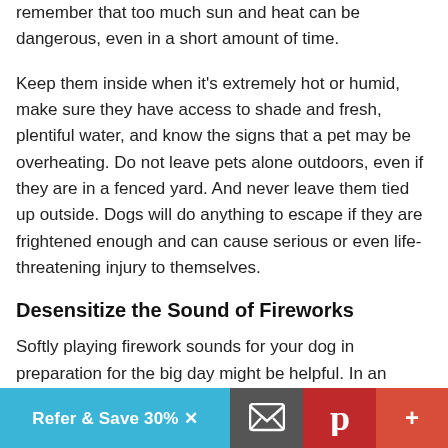remember that too much sun and heat can be dangerous, even in a short amount of time.
Keep them inside when it's extremely hot or humid, make sure they have access to shade and fresh, plentiful water, and know the signs that a pet may be overheating. Do not leave pets alone outdoors, even if they are in a fenced yard. And never leave them tied up outside. Dogs will do anything to escape if they are frightened enough and can cause serious or even life-threatening injury to themselves.
Desensitize the Sound of Fireworks
Softly playing firework sounds for your dog in preparation for the big day might be helpful. In an attempt to counter-condition your dog, try giving them treats as they are being played. The
Refer & Save 30% X